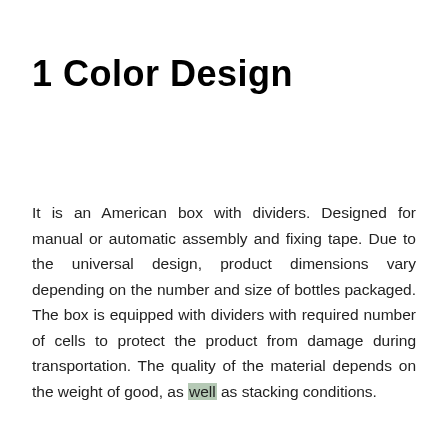1 Color Design
It is an American box with dividers. Designed for manual or automatic assembly and fixing tape. Due to the universal design, product dimensions vary depending on the number and size of bottles packaged. The box is equipped with dividers with required number of cells to protect the product from damage during transportation. The quality of the material depends on the weight of good, as well as stacking conditions.